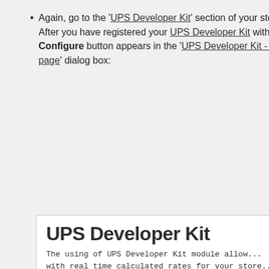Again, go to the 'UPS Developer Kit' section of your store. After you have registered your UPS Developer Kit with UPS, a Configure button appears in the 'UPS Developer Kit - Main page' dialog box:
[Figure (screenshot): Screenshot of the UPS Developer Kit dialog box showing the title 'UPS Developer Kit', descriptive text, a 'UPS Developer Kit - Main page' section header, and an inner box with the UPS shield logo and text about registration and configuration.]